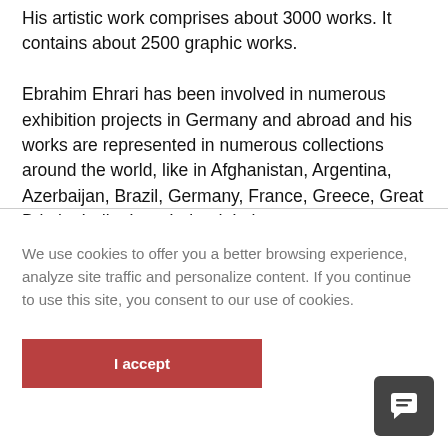His artistic work comprises about 3000 works. It contains about 2500 graphic works.
Ebrahim Ehrari has been involved in numerous exhibition projects in Germany and abroad and his works are represented in numerous collections around the world, like in Afghanistan, Argentina, Azerbaijan, Brazil, Germany, France, Greece, Great Britain, India, Iran, Ireland, Italy,
We use cookies to offer you a better browsing experience, analyze site traffic and personalize content. If you continue to use this site, you consent to our use of cookies.
I accept
[Figure (other): Chat/messaging icon button in dark gray rounded square]